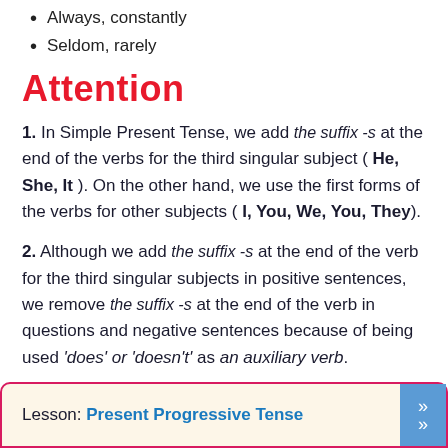Always, constantly
Seldom, rarely
Attention
1. In Simple Present Tense, we add the suffix -s at the end of the verbs for the third singular subject ( He, She, It ). On the other hand, we use the first forms of the verbs for other subjects ( I, You, We, You, They ).
2. Although we add the suffix -s at the end of the verb for the third singular subjects in positive sentences, we remove the suffix -s at the end of the verb in questions and negative sentences because of being used 'does' or 'doesn't' as an auxiliary verb.
Lesson: Present Progressive Tense